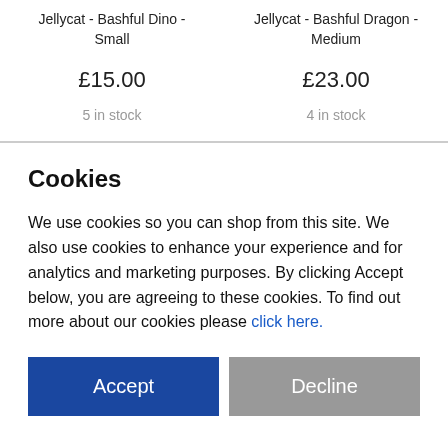Jellycat - Bashful Dino - Small
Jellycat - Bashful Dragon - Medium
£15.00
£23.00
5 in stock
4 in stock
Cookies
We use cookies so you can shop from this site. We also use cookies to enhance your experience and for analytics and marketing purposes. By clicking Accept below, you are agreeing to these cookies. To find out more about our cookies please click here.
Accept
Decline